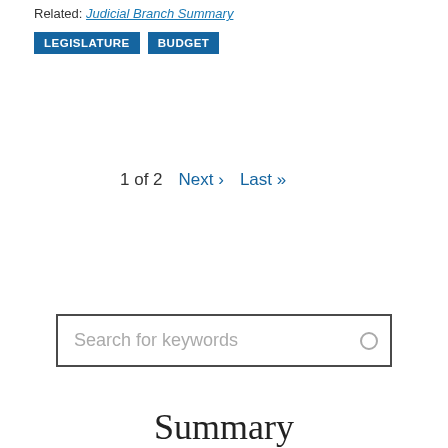Related: Judicial Branch Summary
LEGISLATURE  BUDGET
1 of 2  Next ›  Last »
Search for keywords
Summary